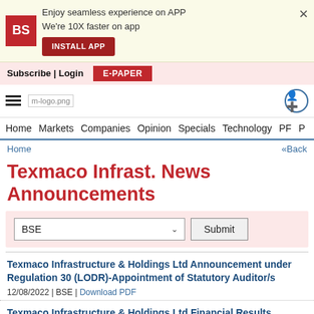[Figure (screenshot): Business Standard app install banner with BS red logo, text 'Enjoy seamless experience on APP We're 10X faster on app', INSTALL APP button, and close X]
Subscribe | Login  E-PAPER
m-logo.png  Home  Markets  Companies  Opinion  Specials  Technology  PF  P
Home  «Back
Texmaco Infrast. News Announcements
BSE  Submit
Texmaco Infrastructure & Holdings Ltd Announcement under Regulation 30 (LODR)-Appointment of Statutory Auditor/s
12/08/2022 | BSE | Download PDF
Texmaco Infrastructure & Holdings Ltd Financial Results